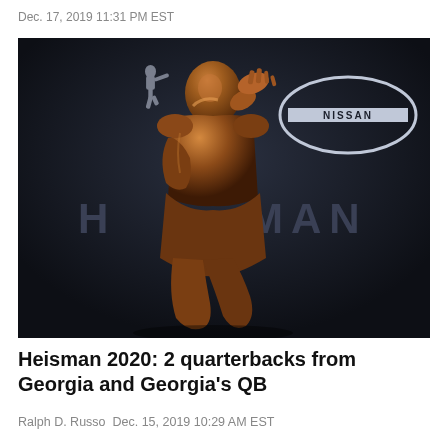Dec. 17, 2019 11:31 PM EST
[Figure (photo): Close-up of the bronze Heisman Trophy statue in front of a dark backdrop with the Heisman logo and Nissan sponsor logo visible in the background.]
Heisman 2020: 2 quarterbacks from Georgia and Georgia's QB
Ralph D. Russo Dec. 15, 2019 10:29 AM EST